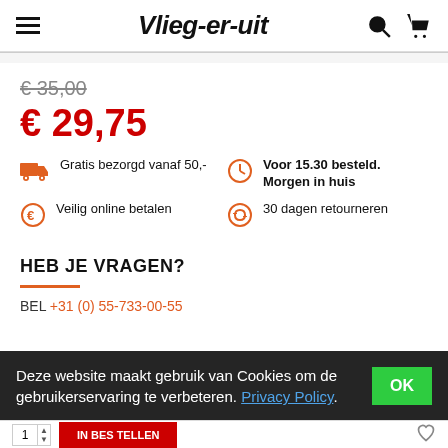Vlieg-er-uit
€ 35,00 (strikethrough original price)
€ 29,75
Gratis bezorgd vanaf 50,-
Voor 15.30 besteld. Morgen in huis
Veilig online betalen
30 dagen retourneren
HEB JE VRAGEN?
BEL +31 (0) 55-733-00-55
Deze website maakt gebruik van Cookies om de gebruikerservaring te verbeteren. Privacy Policy.